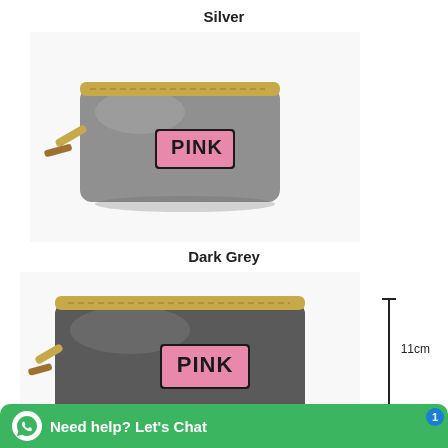Silver
[Figure (photo): Silver metallic PINK branded cosmetic bag with gold zipper and wrist strap, featuring a pink sequin PINK patch on the front]
Dark Grey
[Figure (photo): Dark grey metallic PINK branded cosmetic bag with gold zipper and wrist strap, featuring a pink sequin PINK patch on the front, with a vertical dimension line showing 11cm height]
11cm
Need help? Let's Chat